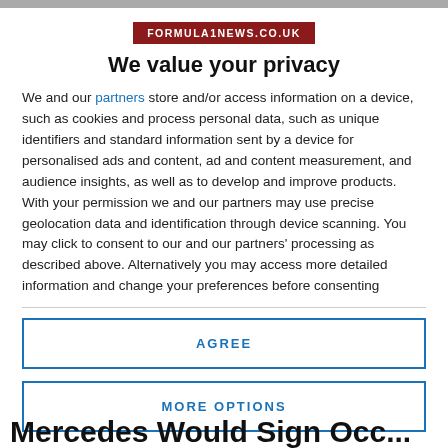[Figure (logo): FORMULA1NEWS.CO.UK logo in dark red/maroon box with white text]
We value your privacy
We and our partners store and/or access information on a device, such as cookies and process personal data, such as unique identifiers and standard information sent by a device for personalised ads and content, ad and content measurement, and audience insights, as well as to develop and improve products. With your permission we and our partners may use precise geolocation data and identification through device scanning. You may click to consent to our and our partners' processing as described above. Alternatively you may access more detailed information and change your preferences before consenting or to refuse consenting. Please note that some processing of...
AGREE
MORE OPTIONS
Mercedes Would Sign Occ...